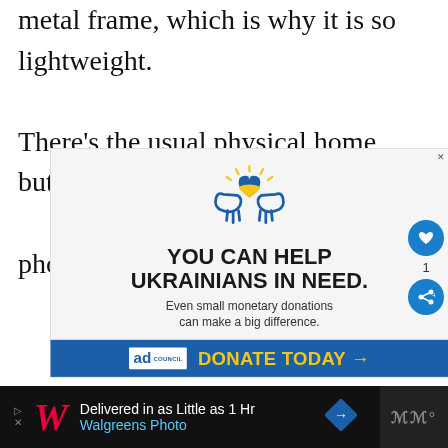metal frame, which is why it is so lightweight. There's the usual physical home button all phones in that generation had.
[Figure (illustration): Ad Council charity advertisement for Ukrainian aid. Shows two hands holding a blue and yellow heart with sun rays above. Text reads: YOU CAN HELP UKRAINIANS IN NEED. Even small monetary donations can make a big difference. Blue banner at bottom with Ad Council logo and yellow DONATE TODAY arrow button.]
[Figure (illustration): Walgreens Photo bottom advertisement banner on dark background. Text: Delivered in as Little as 1 Hr, Walgreens Photo. Blue navigation diamond icon and Walgreens W logo visible.]